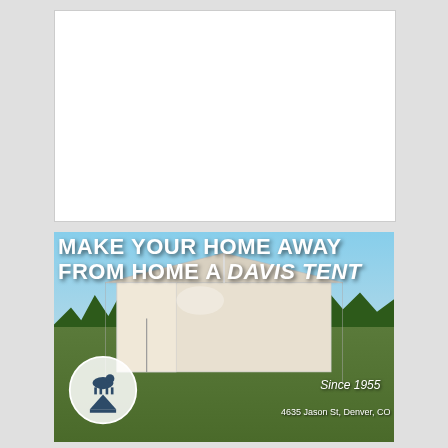[Figure (other): Empty white rectangle box at top of page, likely placeholder for an advertisement or image]
[Figure (photo): Advertisement for Davis Tent featuring a large canvas wall tent set in a field with pine trees in the background. Text reads 'MAKE YOUR HOME AWAY FROM HOME A DAVIS TENT'. Shows company logo with horse and rider, 'Since 1955', and partial address '4635 Jason St, Denver, CO']